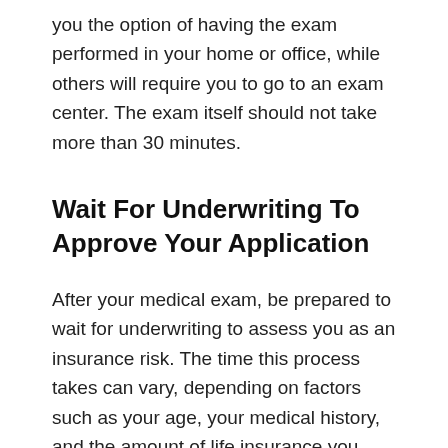you the option of having the exam performed in your home or office, while others will require you to go to an exam center. The exam itself should not take more than 30 minutes.
Wait For Underwriting To Approve Your Application
After your medical exam, be prepared to wait for underwriting to assess you as an insurance risk. The time this process takes can vary, depending on factors such as your age, your medical history, and the amount of life insurance you want to purchase. The insurance company will have to wait for the medical lab to